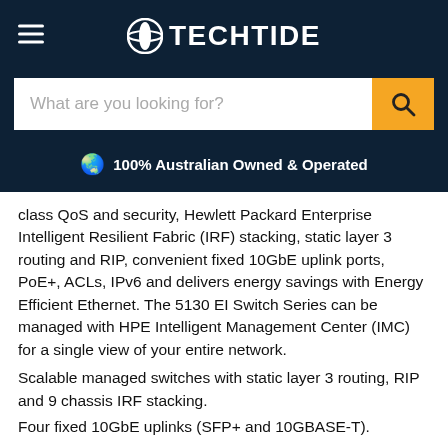TECHTIDE
What are you looking for?
100% Australian Owned & Operated
class QoS and security, Hewlett Packard Enterprise Intelligent Resilient Fabric (IRF) stacking, static layer 3 routing and RIP, convenient fixed 10GbE uplink ports, PoE+, ACLs, IPv6 and delivers energy savings with Energy Efficient Ethernet. The 5130 EI Switch Series can be managed with HPE Intelligent Management Center (IMC) for a single view of your entire network.
Scalable managed switches with static layer 3 routing, RIP and 9 chassis IRF stacking.
Four fixed 10GbE uplinks (SFP+ and 10GBASE-T).
PoE+ models for voice, video and wireless.